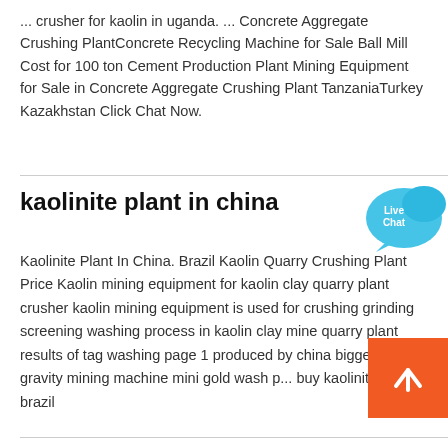... crusher for kaolin in uganda. ... Concrete Aggregate Crushing PlantConcrete Recycling Machine for Sale Ball Mill Cost for 100 ton Cement Production Plant Mining Equipment for Sale in Concrete Aggregate Crushing Plant TanzaniaTurkey Kazakhstan Click Chat Now.
kaolinite plant in china
Kaolinite Plant In China. Brazil Kaolin Quarry Crushing Plant Price Kaolin mining equipment for kaolin clay quarry plant crusher kaolin mining equipment is used for crushing grinding screening washing process in kaolin clay mine quarry plant results of tag washing page 1 produced by china biggest gravity mining machine mini gold wash p... buy kaolinite quarry brazil